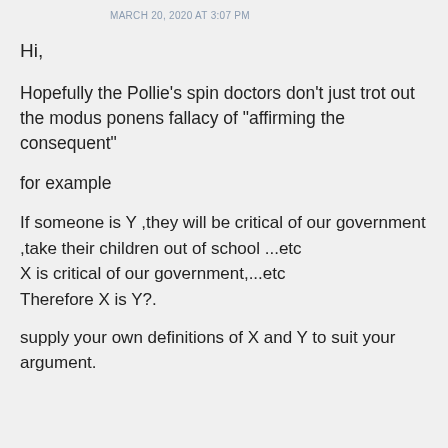MARCH 20, 2020 AT 3:07 PM
Hi,
Hopefully the Pollie's spin doctors don't just trot out the modus ponens fallacy of “airming the consequent”
for example
If someone is Y ,they will be critical of our government ,take their children out of school ...etc
X is critical of our government,...etc
Therefore X is Y?.
supply your own definitions of X and Y to suit your argument.